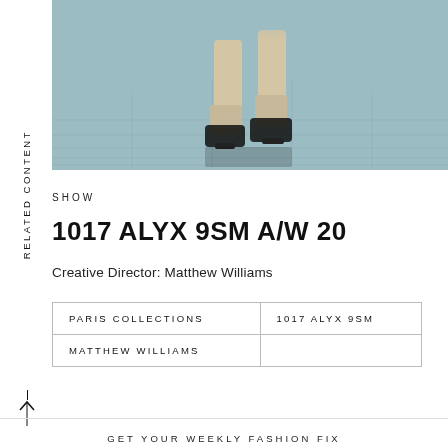RELATED CONTENT
[Figure (photo): Runway fashion show photo showing model's legs and shoes walking on a reflective surface]
SHOW
1017 ALYX 9SM A/W 20
Creative Director: Matthew Williams
| PARIS COLLECTIONS | 1017 ALYX 9SM |
| MATTHEW WILLIAMS |  |
GET YOUR WEEKLY FASHION FIX